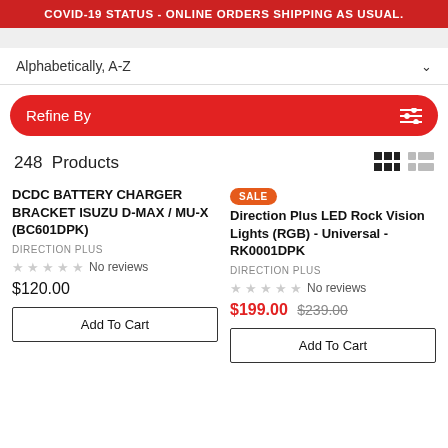COVID-19 STATUS - ONLINE ORDERS SHIPPING AS USUAL.
Alphabetically, A-Z
Refine By
248 Products
DCDC BATTERY CHARGER BRACKET ISUZU D-MAX / MU-X (BC601DPK)
DIRECTION PLUS
No reviews
$120.00
Add To Cart
SALE Direction Plus LED Rock Vision Lights (RGB) - Universal - RK0001DPK
DIRECTION PLUS
No reviews
$199.00 $239.00
Add To Cart